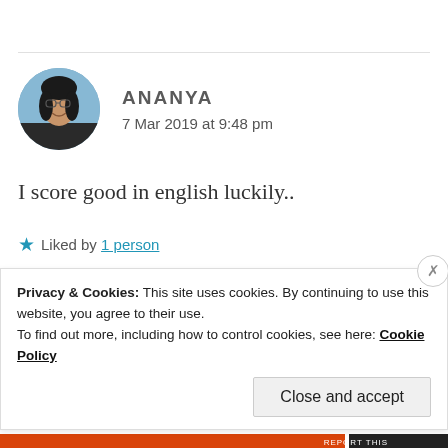[Figure (photo): Circular avatar photo of a young woman with glasses, smiling, against a blue sky background]
ANANYA
7 Mar 2019 at 9:48 pm
I score good in english luckily..
★ Liked by 1 person
Privacy & Cookies: This site uses cookies. By continuing to use this website, you agree to their use.
To find out more, including how to control cookies, see here: Cookie Policy
Close and accept